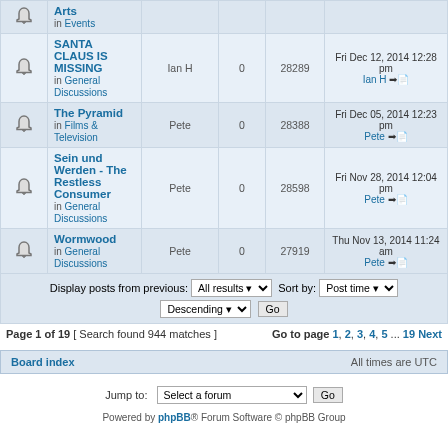|  | Topic | Author | Replies | Views | Last Post |
| --- | --- | --- | --- | --- | --- |
| [icon] | Arts in Events |  |  |  |  |
| [icon] | SANTA CLAUS IS MISSING in General Discussions | Ian H | 0 | 28289 | Fri Dec 12, 2014 12:28 pm Ian H |
| [icon] | The Pyramid in Films & Television | Pete | 0 | 28388 | Fri Dec 05, 2014 12:23 pm Pete |
| [icon] | Sein und Werden - The Restless Consumer in General Discussions | Pete | 0 | 28598 | Fri Nov 28, 2014 12:04 pm Pete |
| [icon] | Wormwood in General Discussions | Pete | 0 | 27919 | Thu Nov 13, 2014 11:24 am Pete |
Display posts from previous: All results Sort by: Post time Descending Go
Page 1 of 19 [ Search found 944 matches ] Go to page 1, 2, 3, 4, 5 ... 19 Next
Board index   All times are UTC
Jump to: Select a forum  Go
Powered by phpBB® Forum Software © phpBB Group